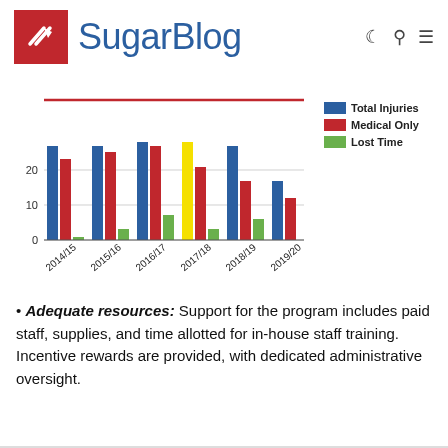SugarBlog
[Figure (grouped-bar-chart): Injuries by Year]
Adequate resources: Support for the program includes paid staff, supplies, and time allotted for in-house staff training. Incentive rewards are provided, with dedicated administrative oversight.